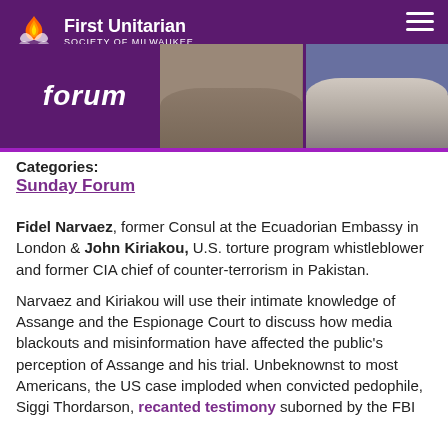[Figure (photo): First Unitarian Society of Milwaukee website header with purple background, logo with flame icon and organization name, hamburger menu icon, and 'forum' text next to two cropped photos of speakers (neck/chin visible)]
Categories:
Sunday Forum
Fidel Narvaez, former Consul at the Ecuadorian Embassy in London & John Kiriakou, U.S. torture program whistleblower and former CIA chief of counter-terrorism in Pakistan.
Narvaez and Kiriakou will use their intimate knowledge of Assange and the Espionage Court to discuss how media blackouts and misinformation have affected the public's perception of Assange and his trial. Unbeknownst to most Americans, the US case imploded when convicted pedophile, Siggi Thordarson, recanted testimony suborned by the FBI